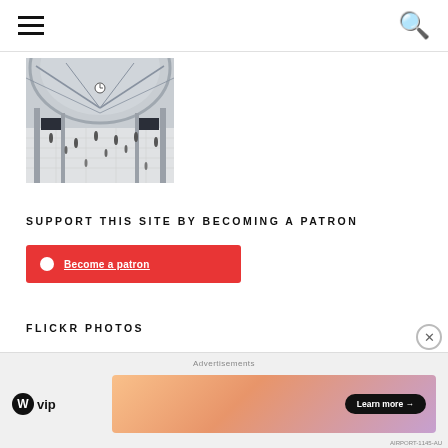Navigation menu and search icon
[Figure (photo): Interior of a large train station or airport terminal with high arched glass ceiling, clock visible, crowds of people on the floor below, bright and airy space]
SUPPORT THIS SITE BY BECOMING A PATRON
Become a patron
FLICKR PHOTOS
Advertisements
[Figure (logo): WordPress VIP logo - circle W icon next to 'vip' text]
[Figure (screenshot): Advertisement banner with gradient orange-pink background showing a Learn more button]